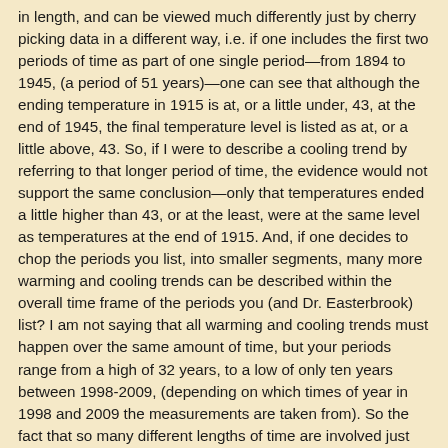in length, and can be viewed much differently just by cherry picking data in a different way, i.e. if one includes the first two periods of time as part of one single period—from 1894 to 1945, (a period of 51 years)—one can see that although the ending temperature in 1915 is at, or a little under, 43, at the end of 1945, the final temperature level is listed as at, or a little above, 43. So, if I were to describe a cooling trend by referring to that longer period of time, the evidence would not support the same conclusion—only that temperatures ended a little higher than 43, or at the least, were at the same level as temperatures at the end of 1915. And, if one decides to chop the periods you list, into smaller segments, many more warming and cooling trends can be described within the overall time frame of the periods you (and Dr. Easterbrook) list? I am not saying that all warming and cooling trends must happen over the same amount of time, but your periods range from a high of 32 years, to a low of only ten years between 1998-2009, (depending on which times of year in 1998 and 2009 the measurements are taken from). So the fact that so many different lengths of time are involved just makes me doubt the feasibility of your claims. As you say, the results cannot be proven until after they happen, so why even entertain such a vague theory as if it was extremely